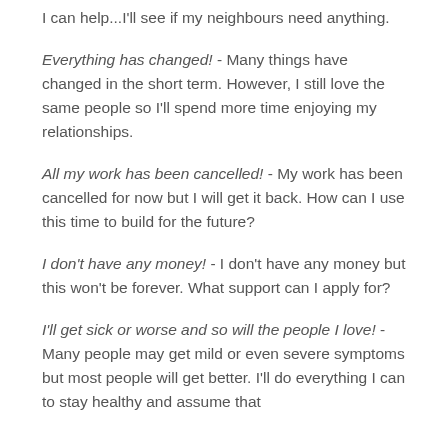I can help...I'll see if my neighbours need anything.
Everything has changed! - Many things have changed in the short term. However, I still love the same people so I'll spend more time enjoying my relationships.
All my work has been cancelled! - My work has been cancelled for now but I will get it back. How can I use this time to build for the future?
I don't have any money! - I don't have any money but this won't be forever. What support can I apply for?
I'll get sick or worse and so will the people I love! - Many people may get mild or even severe symptoms but most people will get better. I'll do everything I can to stay healthy and assume that…